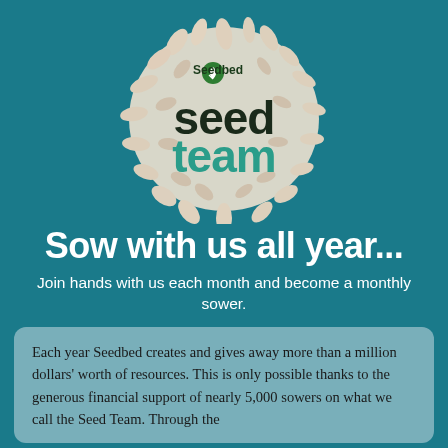[Figure (logo): Seedbed Seed Team logo — circular cluster of illustrated seeds/leaves in beige/cream on teal background, with 'Seedbed' text and leaf icon at top, large bold dark 'seed' and teal 'team' lettering in the center]
Sow with us all year...
Join hands with us each month and become a monthly sower.
Each year Seedbed creates and gives away more than a million dollars' worth of resources. This is only possible thanks to the generous financial support of nearly 5,000 sowers on what we call the Seed Team. Through the...